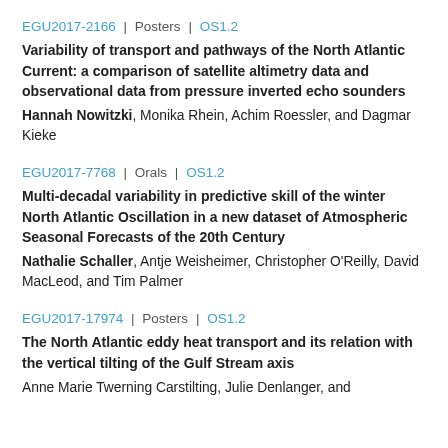EGU2017-2166 | Posters | OS1.2
Variability of transport and pathways of the North Atlantic Current: a comparison of satellite altimetry data and observational data from pressure inverted echo sounders
Hannah Nowitzki, Monika Rhein, Achim Roessler, and Dagmar Kieke
EGU2017-7768 | Orals | OS1.2
Multi-decadal variability in predictive skill of the winter North Atlantic Oscillation in a new dataset of Atmospheric Seasonal Forecasts of the 20th Century
Nathalie Schaller, Antje Weisheimer, Christopher O'Reilly, David MacLeod, and Tim Palmer
EGU2017-17974 | Posters | OS1.2
The North Atlantic eddy heat transport and its relation with the vertical tilting of the Gulf Stream axis
Anne Marie Twerning Carstilting, Julie Denlanger, and...